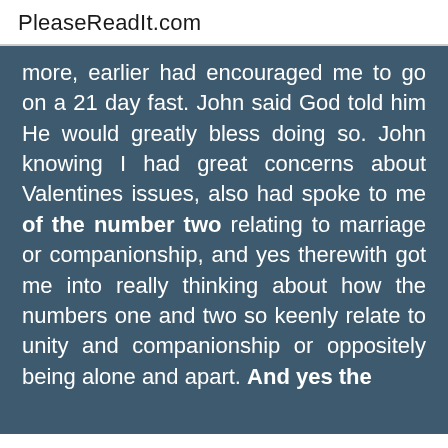PleaseReadIt.com
more, earlier had encouraged me to go on a 21 day fast. John said God told him He would greatly bless doing so. John knowing I had great concerns about Valentines issues, also had spoke to me of the number two relating to marriage or companionship, and yes therewith got me into really thinking about how the numbers one and two so keenly relate to unity and companionship or oppositely being alone and apart. And yes the